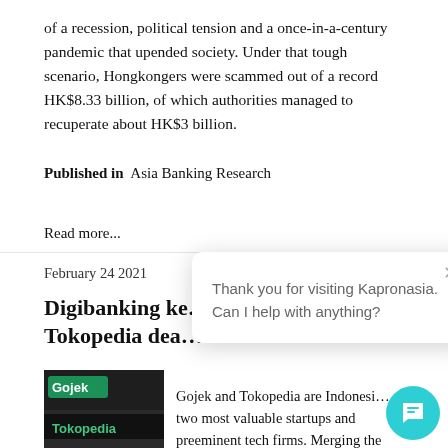of a recession, political tension and a once-in-a-century pandemic that upended society. Under that tough scenario, Hongkongers were scammed out of a record HK$8.33 billion, of which authorities managed to recuperate about HK$3 billion.
Published in  Asia Banking Research
Read more...
February 24 2021
Digibanking ke... Tokopedia dea...
[Figure (photo): Gojek and Tokopedia logos on signage]
Gojek and Tokopedia are Indonesia... two most valuable startups and preeminent tech firms. Merging the